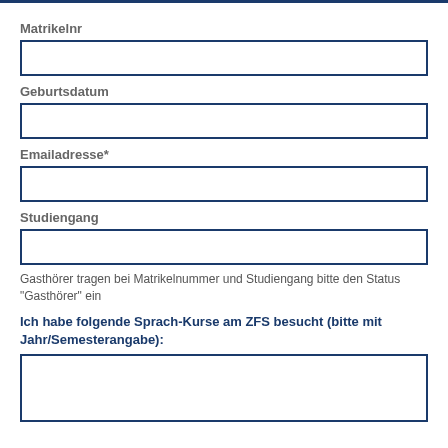Matrikelnr
[Figure (other): Empty input field for Matrikelnr]
Geburtsdatum
[Figure (other): Empty input field for Geburtsdatum]
Emailadresse*
[Figure (other): Empty input field for Emailadresse]
Studiengang
[Figure (other): Empty input field for Studiengang]
Gasthörer tragen bei Matrikelnummer und Studiengang bitte den Status "Gasthörer" ein
Ich habe folgende Sprach-Kurse am ZFS besucht (bitte mit Jahr/Semesterangabe):
[Figure (other): Large empty input field for Sprach-Kurse]